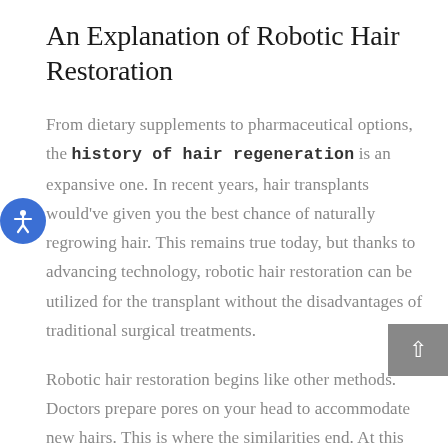An Explanation of Robotic Hair Restoration
From dietary supplements to pharmaceutical options, the history of hair regeneration is an expansive one. In recent years, hair transplants would've given you the best chance of naturally regrowing hair. This remains true today, but thanks to advancing technology, robotic hair restoration can be utilized for the transplant without the disadvantages of traditional surgical treatments.
Robotic hair restoration begins like other methods. Doctors prepare pores on your head to accommodate new hairs. This is where the similarities end. At this point, an advanced robotic system is used to identify the best